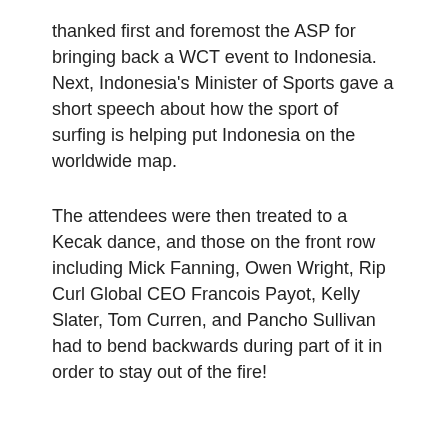thanked first and foremost the ASP for bringing back a WCT event to Indonesia. Next, Indonesia's Minister of Sports gave a short speech about how the sport of surfing is helping put Indonesia on the worldwide map.
The attendees were then treated to a Kecak dance, and those on the front row including Mick Fanning, Owen Wright, Rip Curl Global CEO Francois Payot, Kelly Slater, Tom Curren, and Pancho Sullivan had to bend backwards during part of it in order to stay out of the fire!